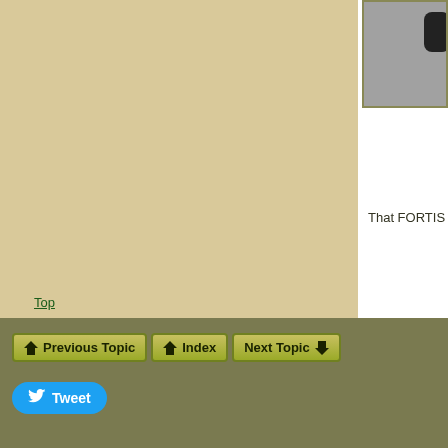[Figure (photo): Partial view of a firearm with dark background, top right corner visible]
That FORTIS rail is awesome!!!!
Top
Previous Topic  Index  Next Topic
Tweet
| Entire topic | Subject |
| --- | --- |
| Post Pics Of Your Hunting/Predator/Varmit AR Here !! |
| Re: Post Pics Of Your Hunting/Predator/Varmit AR Here !! |
| Re: Post Pics Of Your Hunting/Predator/Varmit AR Here !! |
| Re: Post Pics Of Your Hunting/Predator/Varmit AR Here !! |